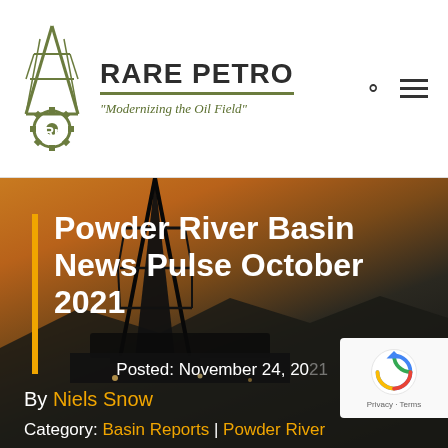RARE PETRO — "Modernizing the Oil Field"
Powder River Basin News Pulse October 2021
By Niels Snow
Posted: November 24, 2021
Category: Basin Reports | Powder River